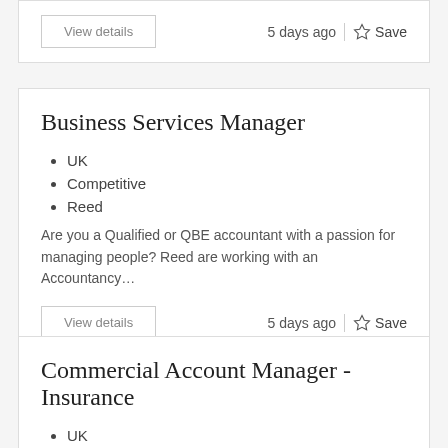View details   5 days ago  |  Save
Business Services Manager
UK
Competitive
Reed
Are you a Qualified or QBE accountant with a passion for managing people? Reed are working with an Accountancy…
View details   5 days ago  |  Save
Commercial Account Manager - Insurance
UK